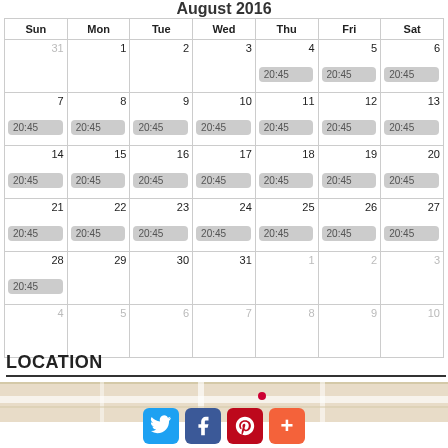August 2016
| Sun | Mon | Tue | Wed | Thu | Fri | Sat |
| --- | --- | --- | --- | --- | --- | --- |
| 31 | 1 | 2 | 3 | 4 20:45 | 5 20:45 | 6 20:45 |
| 7 20:45 | 8 20:45 | 9 20:45 | 10 20:45 | 11 20:45 | 12 20:45 | 13 20:45 |
| 14 20:45 | 15 20:45 | 16 20:45 | 17 20:45 | 18 20:45 | 19 20:45 | 20 20:45 |
| 21 20:45 | 22 20:45 | 23 20:45 | 24 20:45 | 25 20:45 | 26 20:45 | 27 20:45 |
| 28 20:45 | 29 | 30 | 31 | 1 | 2 | 3 |
| 4 | 5 | 6 | 7 | 8 | 9 | 10 |
LOCATION
[Figure (map): Street map showing event location]
[Figure (infographic): Social sharing buttons: Twitter, Facebook, Pinterest, More (+)]